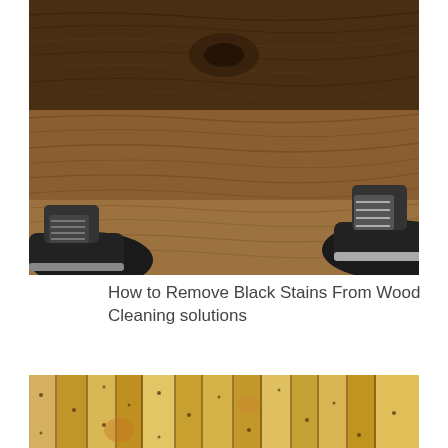[Figure (photo): Overhead view of dark wood grain floor with two black sneakers (Converse-style) visible at bottom corners, standing on the wood floor. The wood has visible grain lines in dark brown tones with lighter reddish-brown areas.]
How to Remove Black Stains From Wood Cleaning solutions
[Figure (photo): Close-up view of light natural bamboo or wood planks arranged vertically, showing pale yellow-tan coloring with small dark knot spots and natural grain texture.]